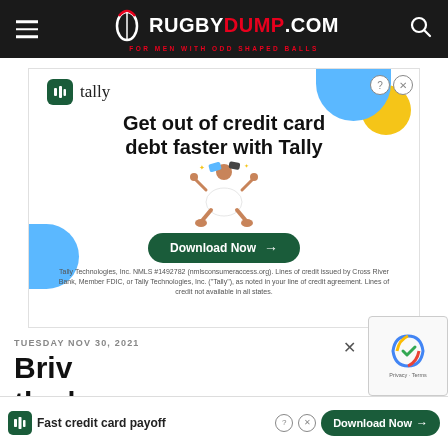RUGBYDUMP.COM - FOR MEN WITH ODD SHAPED BALLS
[Figure (screenshot): Tally advertisement: 'Get out of credit card debt faster with Tally' with Download Now button and meditative person illustration. Tally Technologies, Inc. NMLS #1492782 fine print.]
TUESDAY NOV 30, 2021
Briv the
[Figure (screenshot): Tally bottom ad bar: Fast credit card payoff with Download Now button]
[Figure (screenshot): reCAPTCHA verification widget - Privacy · Terms]